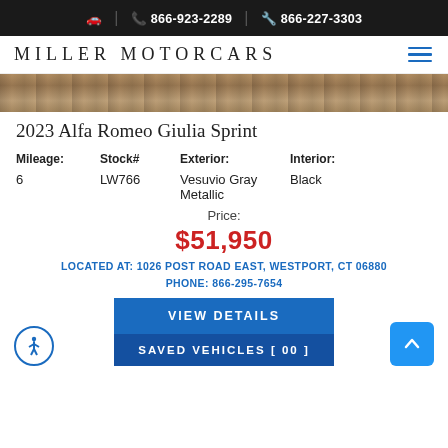🚗 | 📞 866-923-2289 | 🔧 866-227-3303
MILLER MOTORCARS
[Figure (photo): Partial view of a car image strip, brown/golden tones]
2023 Alfa Romeo Giulia Sprint
| Mileage: | Stock# | Exterior: | Interior: |
| --- | --- | --- | --- |
| 6 | LW766 | Vesuvio Gray Metallic | Black |
Price:
$51,950
LOCATED AT: 1026 POST ROAD EAST, WESTPORT, CT 06880
PHONE: 866-295-7654
VIEW DETAILS
SAVED VEHICLES [ 00 ]